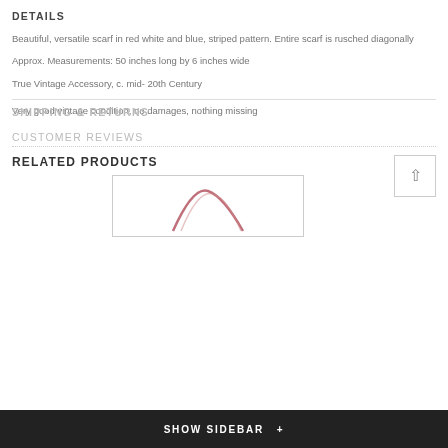DETAILS
Beautiful, versatile scarf in red white and blue, striped pattern. Entire scarf is rusched diagonally
Approx. Measurements: 50 inches long by 6 inches wide
True Vintage Accessory, c. mid- 20th Century
SHIPPING & RETURNS
Very good vintage condition, no damages, nothing missing
CUSTOMER REVIEWS
RELATED PRODUCTS
[Figure (photo): Product image showing a curved/rounded accessory item]
SHOW SIDEBAR +